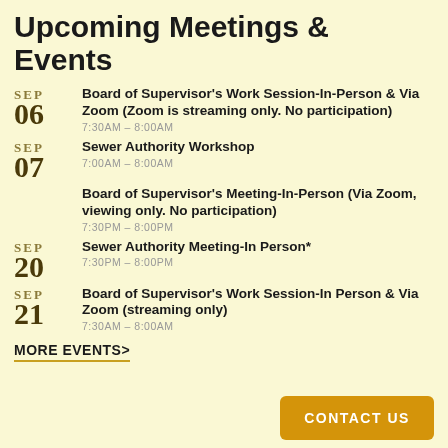Upcoming Meetings & Events
SEP 06 — Board of Supervisor's Work Session-In-Person & Via Zoom (Zoom is streaming only. No participation) — 7:30AM - 8:00AM
SEP 07 — Sewer Authority Workshop — 7:00AM - 8:00AM
SEP 07 — Board of Supervisor's Meeting-In-Person (Via Zoom, viewing only. No participation) — 7:30PM - 8:00PM
SEP 20 — Sewer Authority Meeting-In Person* — 7:30PM - 8:00PM
SEP 21 — Board of Supervisor's Work Session-In Person & Via Zoom (streaming only) — 7:30AM - 8:00AM
MORE EVENTS>
CONTACT US